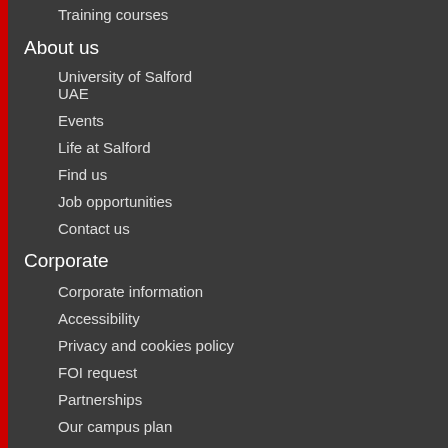Training courses
About us
University of Salford UAE
Events
Life at Salford
Find us
Job opportunities
Contact us
Corporate
Corporate information
Accessibility
Privacy and cookies policy
FOI request
Partnerships
Our campus plan
More information
Library